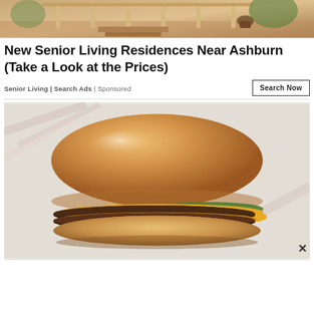[Figure (photo): Top portion of an advertisement showing what appears to be a porch or deck area with wooden railings and outdoor furniture, brown/tan tones]
New Senior Living Residences Near Ashburn (Take a Look at the Prices)
Senior Living | Search Ads | Sponsored
[Figure (photo): A cheeseburger (appears to be a double cheeseburger from McDonald's) sitting on white wrapper/foil, showing two beef patties with cheese, pickles, and onions on a round sesame-free bun. There is a close X button in the bottom right corner.]